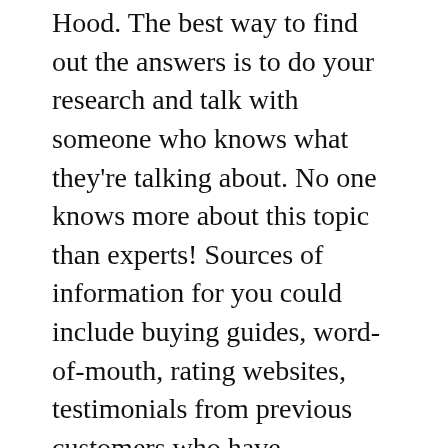Hood. The best way to find out the answers is to do your research and talk with someone who knows what they're talking about. No one knows more about this topic than experts! Sources of information for you could include buying guides, word-of-mouth, rating websites, testimonials from previous customers who have purchased these products; and online forums devoted solely to discussing topics related to Best Quiet Range Hood.
When making a decision, you should only trust the most credible and trustworthy sources. Our library provides objective,